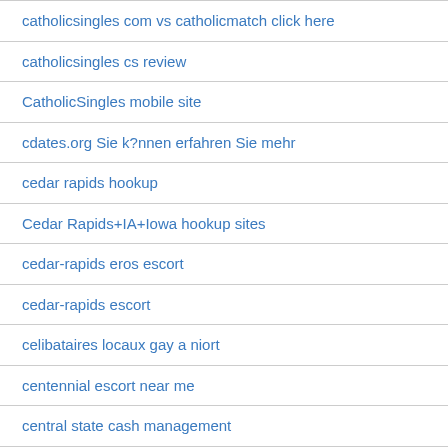catholicsingles com vs catholicmatch click here
catholicsingles cs review
CatholicSingles mobile site
cdates.org Sie k?nnen erfahren Sie mehr
cedar rapids hookup
Cedar Rapids+IA+Iowa hookup sites
cedar-rapids eros escort
cedar-rapids escort
celibataires locaux gay a niort
centennial escort near me
central state cash management
chandler escort index
Chappy mee
chappy mobile site
Chappy unf?hige